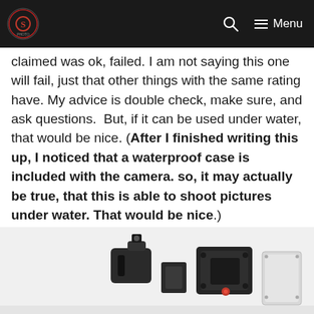[Logo] Search Menu
claimed was ok, failed. I am not saying this one will fail, just that other things with the same rating have. My advice is double check, make sure, and ask questions.  But, if it can be used under water, that would be nice. (After I finished writing this up, I noticed that a waterproof case is included with the camera. so, it may actually be true, that this is able to shoot pictures under water. That would be nice.)
[Figure (photo): Black camera accessories and mounts laid out on a white surface, partially cropped at bottom of page]